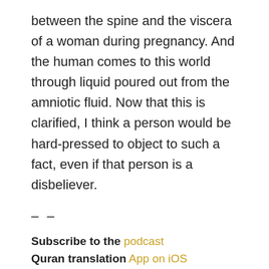between the spine and the viscera of a woman during pregnancy. And the human comes to this world through liquid poured out from the amniotic fluid. Now that this is clarified, I think a person would be hard-pressed to object to such a fact, even if that person is a disbeliever.
– –
Subscribe to the podcast
Quran translation App on iOS
Quran translation website
Additional Resources